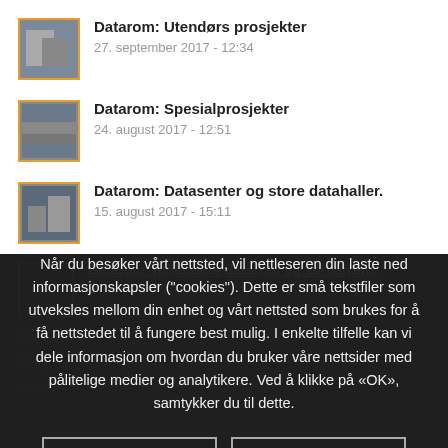Datarom: Utendørs prosjekter
27. september 2017 - 12:34
Datarom: Spesialprosjekter
24. august 2017 - 12:51
Datarom: Datasenter og store datahaller.
15. august 2017 - 15:11
Datarom: Innendørs datarom og serverrom.
14. august 2017 - 11:41
Kategorier
Blog
News
Når du besøker vårt nettsted, vil nettleseren din laste ned informasjonskapsler ("cookies"). Dette er små tekstfiler som utveksles mellom din enhet og vårt nettsted som brukes for å få nettstedet til å fungere best mulig. I enkelte tilfelle kan vi dele informasjon om hvordan du bruker våre nettsider med pålitelige medier og analytikere. Ved å klikke på «OK», samtykker du til dette.
OK
Les mer